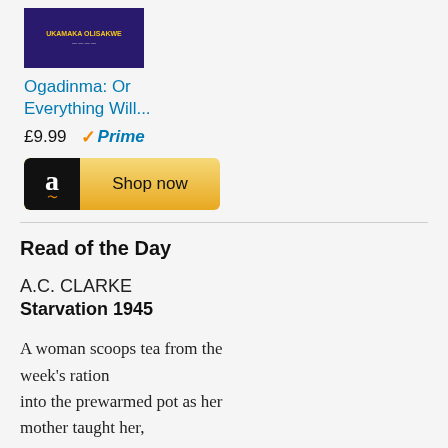[Figure (illustration): Book cover with dark purple/navy background with yellow text showing author name UKAMAKA OLISAKWE]
Ogadinma: Or Everything Will...
£9.99  ✓Prime
[Figure (other): Amazon Shop now button with black Amazon logo box on left and gold gradient background]
Read of the Day
A.C. CLARKE
Starvation 1945
A woman scoops tea from the week's ration into the prewarmed pot as her mother taught her, settles herself with the morning paper.